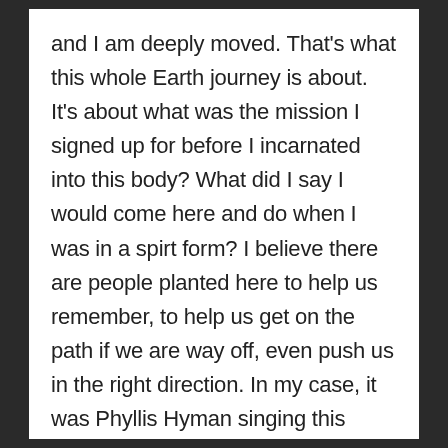and I am deeply moved. That's what this whole Earth journey is about. It's about what was the mission I signed up for before I incarnated into this body? What did I say I would come here and do when I was in a spirt form? I believe there are people planted here to help us remember, to help us get on the path if we are way off, even push us in the right direction. In my case, it was Phyllis Hyman singing this song.
I forgot to mention when I was leading that workshop at that retreat, I was